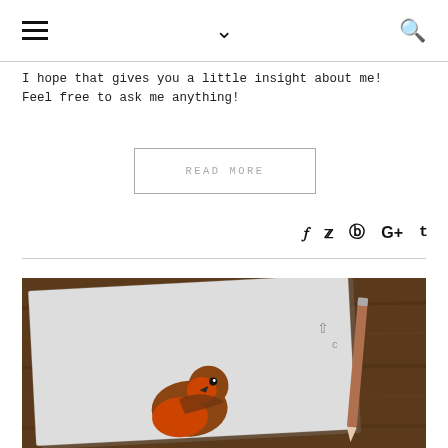☰ ∨ 🔍
I hope that gives you a little insight about me! Feel free to ask me anything!
READ MORE
f 🐦 p G+ t
[Figure (photo): Photo of a robin bird illustration on white textured paper, placed on a dark wooden desk with a pencil nearby]